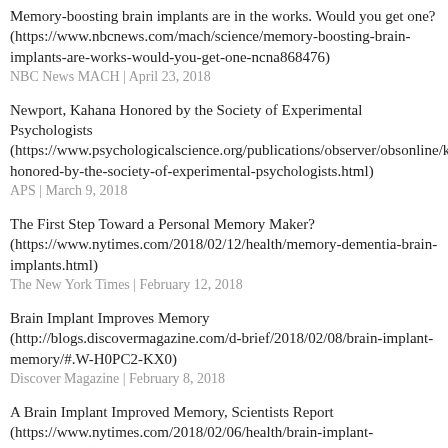Memory-boosting brain implants are in the works. Would you get one? (https://www.nbcnews.com/mach/science/memory-boosting-brain-implants-are-works-would-you-get-one-ncna868476)
NBC News MACH | April 23, 2018
Newport, Kahana Honored by the Society of Experimental Psychologists (https://www.psychologicalscience.org/publications/observer/obsonline/kahana-honored-by-the-society-of-experimental-psychologists.html)
APS | March 9, 2018
The First Step Toward a Personal Memory Maker? (https://www.nytimes.com/2018/02/12/health/memory-dementia-brain-implants.html)
The New York Times | February 12, 2018
Brain Implant Improves Memory (http://blogs.discovermagazine.com/d-brief/2018/02/08/brain-implant-memory/#.W-H0PC2-KX0)
Discover Magazine | February 8, 2018
A Brain Implant Improved Memory, Scientists Report (https://www.nytimes.com/2018/02/06/health/brain-implant-memory.html)
The New York Times | February 6, 2018